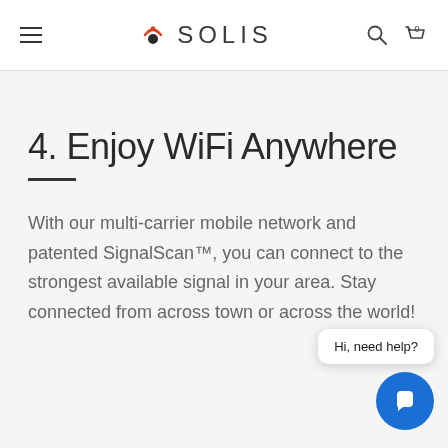SOLIS
4. Enjoy WiFi Anywhere
With our multi-carrier mobile network and patented SignalScan™, you can connect to the strongest available signal in your area. Stay connected from across town or across the world!